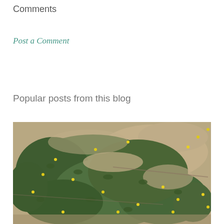Comments
Post a Comment
Popular posts from this blog
[Figure (photo): Overhead view of low-growing green plants with small yellow flowers spreading across sandy/gravelly soil]